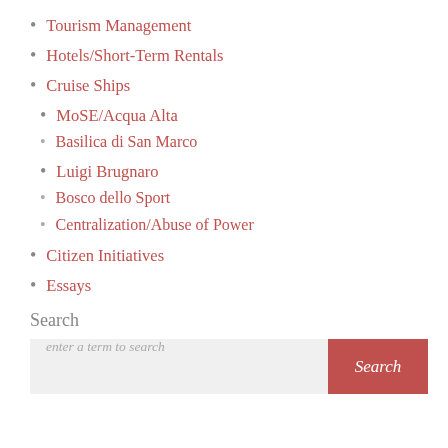Tourism Management
Hotels/Short-Term Rentals
Cruise Ships
MoSE/Acqua Alta
Basilica di San Marco
Luigi Brugnaro
Bosco dello Sport
Centralization/Abuse of Power
Citizen Initiatives
Essays
Search
enter a term to search